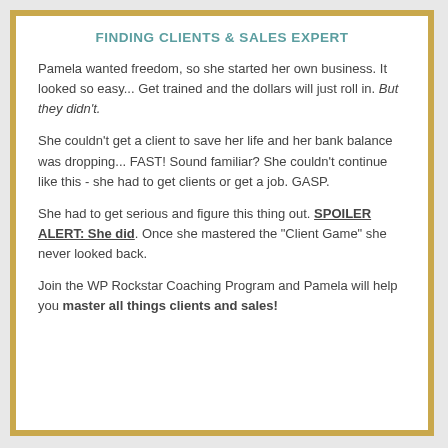FINDING CLIENTS & SALES EXPERT
Pamela wanted freedom, so she started her own business. It looked so easy... Get trained and the dollars will just roll in. But they didn't.
She couldn't get a client to save her life and her bank balance was dropping... FAST! Sound familiar? She couldn't continue like this - she had to get clients or get a job. GASP.
She had to get serious and figure this thing out. SPOILER ALERT: She did. Once she mastered the "Client Game" she never looked back.
Join the WP Rockstar Coaching Program and Pamela will help you master all things clients and sales!